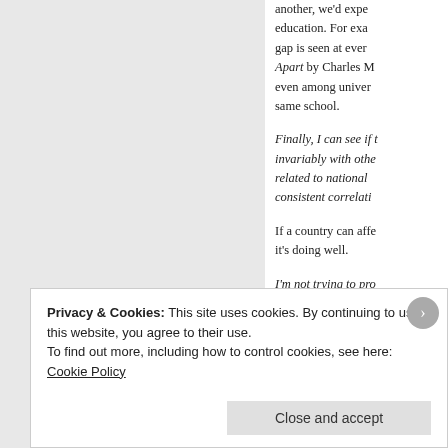another, we'd expect education. For example, gap is seen at ever Apart by Charles M even among univers same school.
Finally, I can see if t invariably with othe related to national consistent correlati
If a country can aff it's doing well.
I'm not trying to pr s u
Privacy & Cookies: This site uses cookies. By continuing to use this website, you agree to their use.
To find out more, including how to control cookies, see here: Cookie Policy
Close and accept